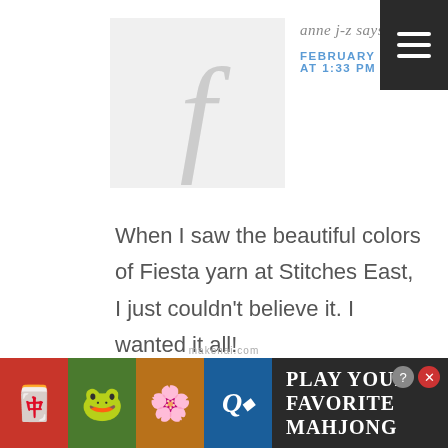[Figure (illustration): Gray avatar placeholder with large italic letter F]
anne j-z says
FEBRUARY 16, 2014 AT 1:33 PM
When I saw the beautiful colors of Fiesta yarn at Stitches East, I just couldn't believe it. I wanted it all!
Reply
[Figure (screenshot): Advertisement banner for Play Your Favorite Mahjong with mahjong tile images]